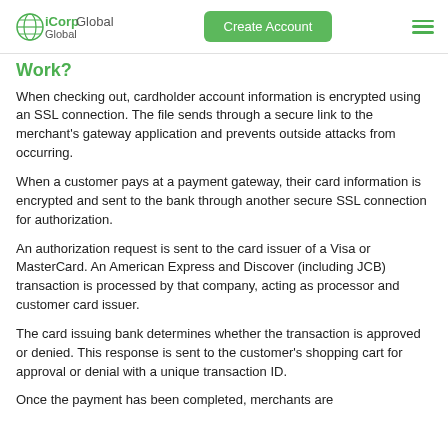iCorp Global | Create Account
Work?
When checking out, cardholder account information is encrypted using an SSL connection. The file sends through a secure link to the merchant's gateway application and prevents outside attacks from occurring.
When a customer pays at a payment gateway, their card information is encrypted and sent to the bank through another secure SSL connection for authorization.
An authorization request is sent to the card issuer of a Visa or MasterCard. An American Express and Discover (including JCB) transaction is processed by that company, acting as processor and customer card issuer.
The card issuing bank determines whether the transaction is approved or denied. This response is sent to the customer's shopping cart for approval or denial with a unique transaction ID.
Once the payment has been completed, merchants are